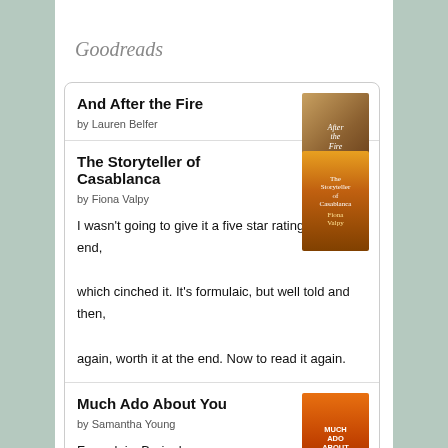Goodreads
And After the Fire
by Lauren Belfer
The Storyteller of Casablanca
by Fiona Valpy
I wasn't going to give it a five star rating until the end, which cinched it. It's formulaic, but well told and then, again, worth it at the end. Now to read it again.
Much Ado About You
by Samantha Young
Formulaic. Boringly so.